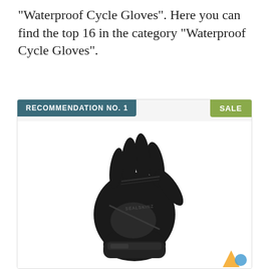“Waterproof Cycle Gloves”. Here you can find the top 16 in the category “Waterproof Cycle Gloves”.
RECOMMENDATION NO. 1
SALE
[Figure (photo): Black waterproof cycle glove (SEALSKINZ brand) on white background]
SEALSKINZ Unisex Waterproof All Weather Cycle...